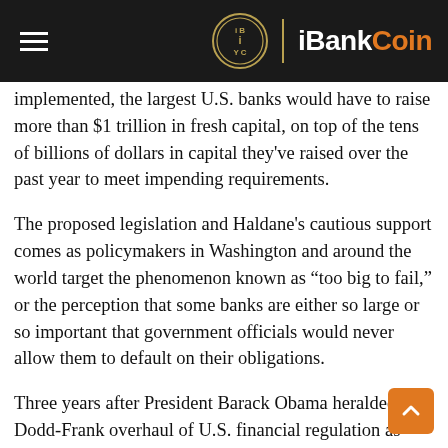iBankCoin
implemented, the largest U.S. banks would have to raise more than $1 trillion in fresh capital, on top of the tens of billions of dollars in capital they've raised over the past year to meet impending requirements.
The proposed legislation and Haldane's cautious support comes as policymakers in Washington and around the world target the phenomenon known as “too big to fail,” or the perception that some banks are either so large or so important that government officials would never allow them to default on their obligations.
Three years after President Barack Obama heralded the Dodd-Frank overhaul of U.S. financial regulation as ending “too big to fail,” policymakers ranging from Ben Bernanke, Federal Reserve chairman, to Tom Hoenig, Federal Deposit Insurance Corp. vice chairman, have conceded that “too big to fail” remains and that the largest banks continue to benefit from the perception.